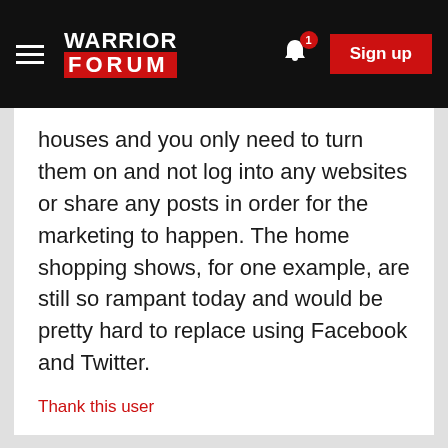WARRIOR FORUM – Sign up
houses and you only need to turn them on and not log into any websites or share any posts in order for the marketing to happen. The home shopping shows, for one example, are still so rampant today and would be pretty hard to replace using Facebook and Twitter.
Thank this user
kellyyarnsbro · 9 years ago
Very useful though the fact that